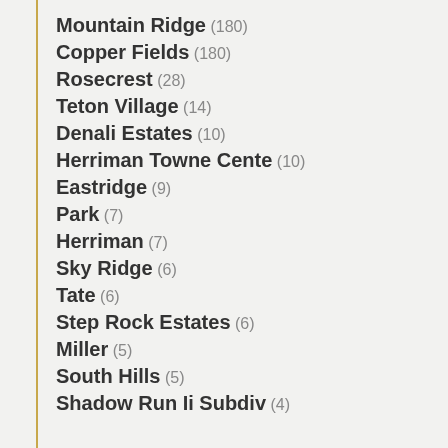Mountain Ridge (180)
Copper Fields (180)
Rosecrest (28)
Teton Village (14)
Denali Estates (10)
Herriman Towne Cente (10)
Eastridge (9)
Park (7)
Herriman (7)
Sky Ridge (6)
Tate (6)
Step Rock Estates (6)
Miller (5)
South Hills (5)
Shadow Run Ii Subdiv (4)